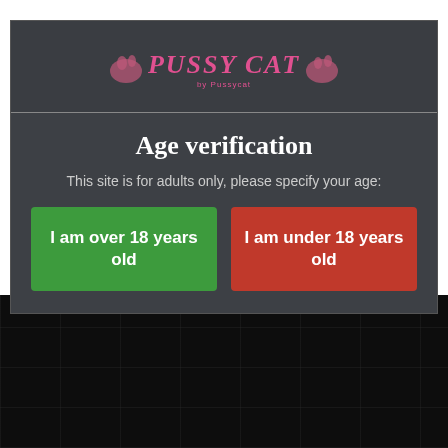[Figure (logo): PUSSY CAT logo in pink italic font with decorative elements]
Age verification
This site is for adults only, please specify your age:
I am over 18 years old
I am under 18 years old
[Figure (photo): Dark blurred background showing what appears to be an interior venue]